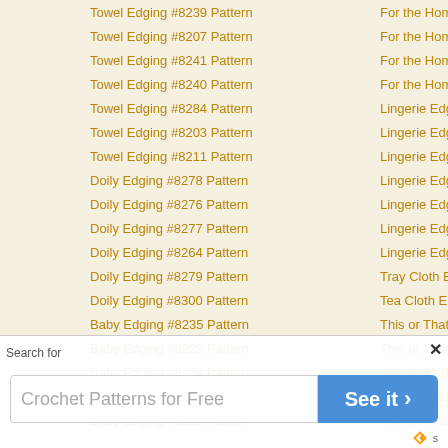Towel Edging #8239 Pattern | For the Home
Towel Edging #8207 Pattern | For the Home
Towel Edging #8241 Pattern | For the Home
Towel Edging #8240 Pattern | For the Home
Towel Edging #8284 Pattern | Lingerie Edging
Towel Edging #8203 Pattern | Lingerie Edging
Towel Edging #8211 Pattern | Lingerie Edging
Doily Edging #8278 Pattern | Lingerie Edging
Doily Edging #8276 Pattern | Lingerie Edging
Doily Edging #8277 Pattern | Lingerie Edging
Doily Edging #8264 Pattern | Lingerie Edging
Doily Edging #8279 Pattern | Tray Cloth Edging
Doily Edging #8300 Pattern | Tea Cloth Edging
Baby Edging #8235 Pattern | This or That
Baby Edging #8229 Pattern | This or That
Baby Edging #8234 Pattern | This or That
Baby Edging #8227 Pattern | This or That
Baby Edging #8228 Pattern | This or That
Search for
Crochet Patterns for Free   See it ›